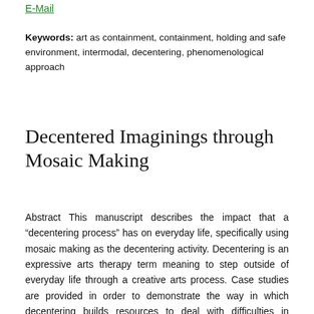E-Mail
Keywords: art as containment, containment, holding and safe environment, intermodal, decentering, phenomenological approach
Decentered Imaginings through Mosaic Making
Abstract This manuscript describes the impact that a “decentering process” has on everyday life, specifically using mosaic making as the decentering activity. Decentering is an expressive arts therapy term meaning to step outside of everyday life through a creative arts process. Case studies are provided in order to demonstrate the way in which decentering builds resources to deal with difficulties in everyday life and promotes a sense of belonging. The uniqueness of the